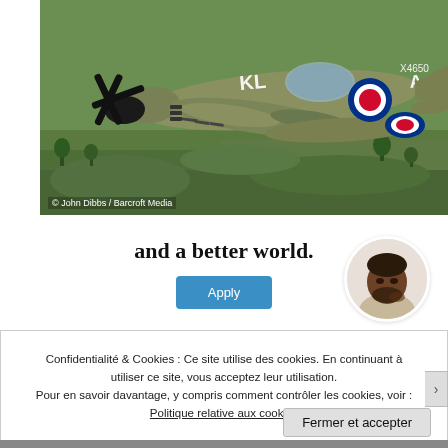[Figure (photo): Aerial photograph of a WWII Spitfire aircraft in RAF camouflage livery with roundel markings (KL A, X4650) flying over green countryside. Photo credit: © John Dibbs / Barcroft Media]
© John Dibbs / Barcroft Media
and a better world.
[Figure (photo): Circular avatar photo of a bearded Black man in a light-colored shirt, thoughtfully touching his chin, on a white/light grey background.]
Confidentialité & Cookies : Ce site utilise des cookies. En continuant à utiliser ce site, vous acceptez leur utilisation. Pour en savoir davantage, y compris comment contrôler les cookies, voir : Politique relative aux cookies
Fermer et accepter